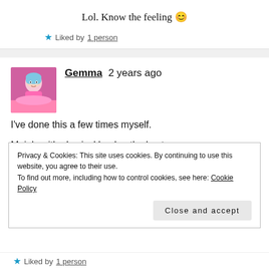Lol. Know the feeling 😊
★ Liked by 1 person
Gemma   2 years ago
I've done this a few times myself.

Mainly with physical books- the best
Privacy & Cookies: This site uses cookies. By continuing to use this website, you agree to their use.
To find out more, including how to control cookies, see here: Cookie Policy
Close and accept
★ Liked by 1 person